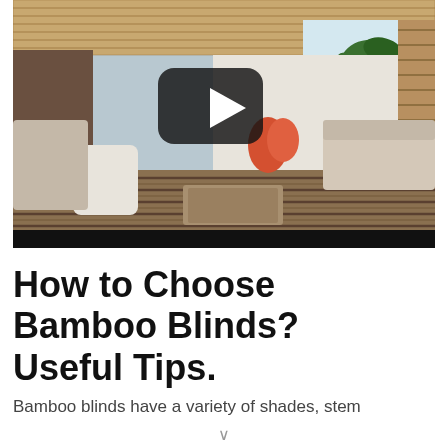[Figure (photo): Video thumbnail showing an outdoor/covered patio living area with bamboo ceiling, striped wood floor, white outdoor furniture, sofas, palm trees visible outside. A YouTube-style play button overlay is centered on the image. A black bar runs along the bottom of the video frame.]
How to Choose Bamboo Blinds? Useful Tips.
Bamboo blinds have a variety of shades, stem